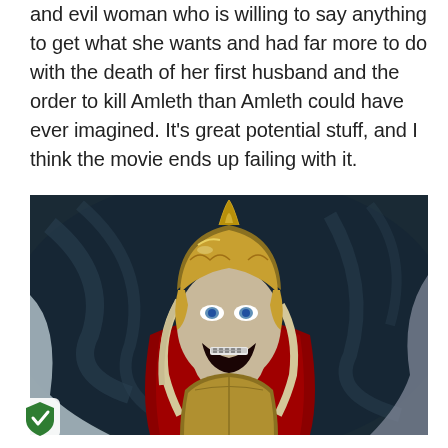and evil woman who is willing to say anything to get what she wants and had far more to do with the death of her first husband and the order to kill Amleth than Amleth could have ever imagined. It's great potential stuff, and I think the movie ends up failing with it.
[Figure (photo): A warrior woman in ornate golden helmet and red cape, mouth open in a battle cry, with dramatic dark smoky background.]